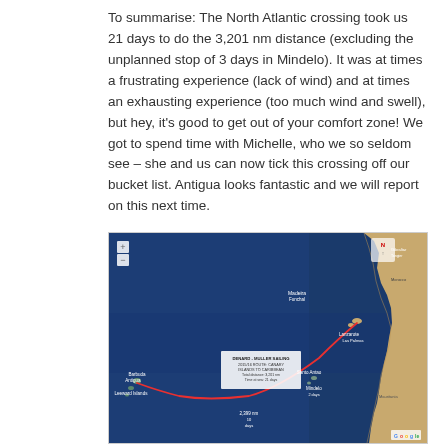To summarise: The North Atlantic crossing took us 21 days to do the 3,201 nm distance (excluding the unplanned stop of 3 days in Mindelo). It was at times a frustrating experience (lack of wind) and at times an exhausting experience (too much wind and swell), but hey, it's good to get out of your comfort zone! We got to spend time with Michelle, who we so seldom see – she and us can now tick this crossing off our bucket list. Antigua looks fantastic and we will report on this next time.
[Figure (map): Google Maps satellite view showing the North Atlantic sailing route from Canary Islands to Caribbean (Antigua), with a red curved route line arcing westward across the Atlantic Ocean. Labeled waypoints include Mindelo, Santo Antao, Cape Verde, Leeward Islands, Barbuda, Antigua, and other locations. An inset box reads 'DENARD - MULLER SAILING, 2015/16 ROUTE: CANARY ISLANDS TO CARIBBEAN, Total distance: 3,201 nm, Time at sea: 21 days'.]